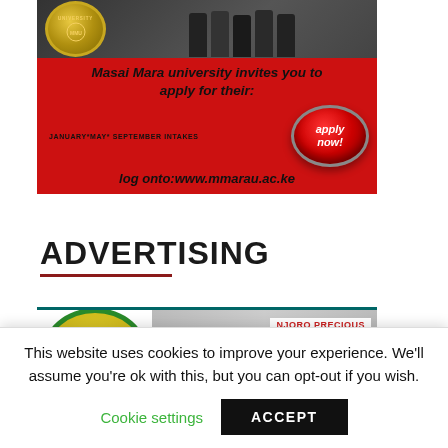[Figure (illustration): Masai Mara University advertisement banner on red background. Shows university seal/logo and graduates in academic regalia at top. Text reads: 'Masai Mara university invites you to apply for their:' with JANUARY*MAY* SEPTEMBER INTAKES and a red 'apply now!' button graphic. URL: log onto:www.mmarau.ac.ke]
ADVERTISING
[Figure (illustration): Precious (Njoro Precious) advertisement showing a green circular logo with 'PRECIOUS' text and yellow center, alongside a photo of the Njoro Precious storefront/building with signage.]
This website uses cookies to improve your experience. We'll assume you're ok with this, but you can opt-out if you wish.
Cookie settings   ACCEPT